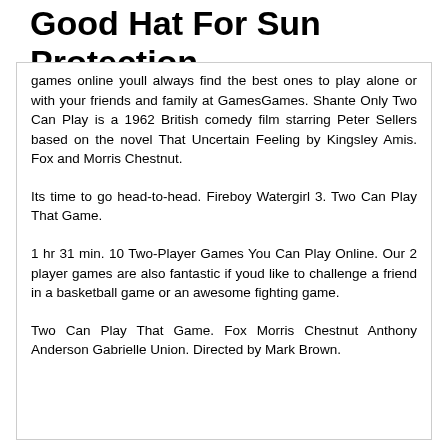Good Hat For Sun Protection
games online youll always find the best ones to play alone or with your friends and family at GamesGames. Shante Only Two Can Play is a 1962 British comedy film starring Peter Sellers based on the novel That Uncertain Feeling by Kingsley Amis. Fox and Morris Chestnut.
Its time to go head-to-head. Fireboy Watergirl 3. Two Can Play That Game.
1 hr 31 min. 10 Two-Player Games You Can Play Online. Our 2 player games are also fantastic if youd like to challenge a friend in a basketball game or an awesome fighting game.
Two Can Play That Game. Fox Morris Chestnut Anthony Anderson Gabrielle Union. Directed by Mark Brown.